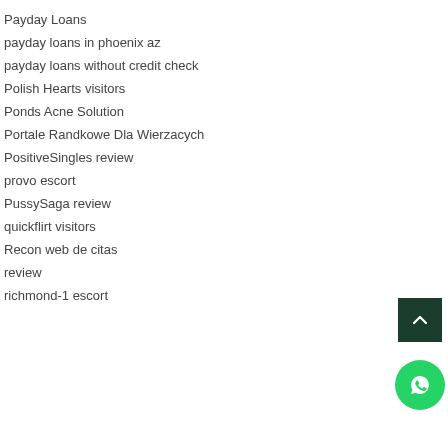Payday Loans
payday loans in phoenix az
payday loans without credit check
Polish Hearts visitors
Ponds Acne Solution
Portale Randkowe Dla Wierzacych
PositiveSingles review
provo escort
PussySaga review
quickflirt visitors
Recon web de citas
review
richmond-1 escort
[Figure (illustration): Scroll to top button - dark green square with upward chevron arrow]
[Figure (illustration): WhatsApp contact button - green circle with phone handset icon]